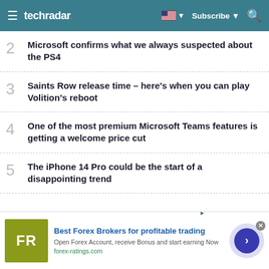techradar
2 Microsoft confirms what we always suspected about the PS4
3 Saints Row release time – here's when you can play Volition's reboot
4 One of the most premium Microsoft Teams features is getting a welcome price cut
5 The iPhone 14 Pro could be the start of a disappointing trend
[Figure (screenshot): Advertisement banner: FR logo (forex-ratings) with text 'Best Forex Brokers for profitable trading', 'Open Forex Account, receive Bonus and start earning Now', 'forex-ratings.com']